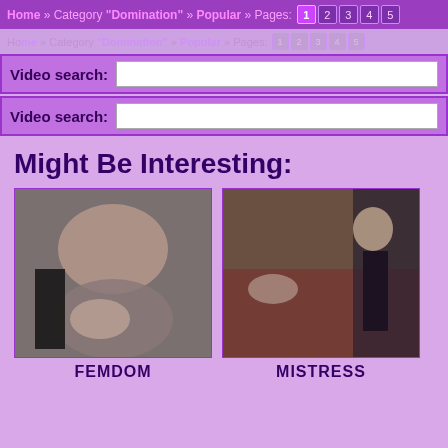Home » Category "Domination" » Popular » Pages: 1 2 3 4 5
Video search:
Video search:
Might Be Interesting:
[Figure (photo): Thumbnail image labeled FEMDOM]
FEMDOM
[Figure (photo): Thumbnail image labeled MISTRESS]
MISTRESS